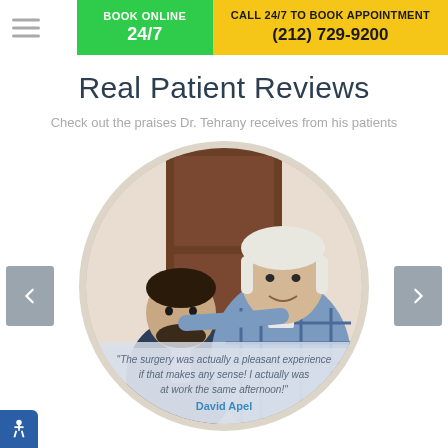BOOK ONLINE 24/7 | CALL 24/7 TO BOOK APPOINTMENT (212) 729-9200
Real Patient Reviews
Check out the praises Dr. Tehrany receives from his patients
[Figure (photo): Two men posing together inside a medical office — a shorter dark-haired man in a dark suit and a taller white-haired man in a plaid blue shirt — displayed in a circular crop with a patient testimonial quote overlay at the bottom.]
"The surgery was actually a pleasant experience if that makes any sense! I actually was at work the same afternoon!" David Apel